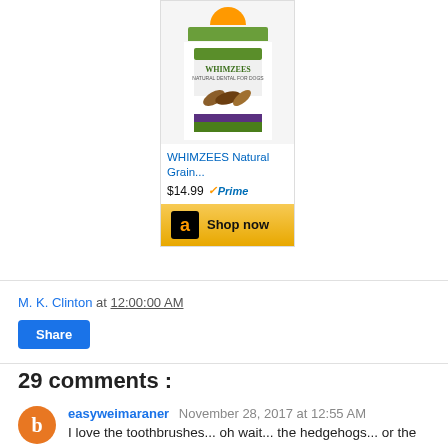[Figure (other): Amazon product advertisement widget for WHIMZEES Natural Grain dog treats. Shows product image, title 'WHIMZEES Natural Grain...', price '$14.99' with Prime badge, and a 'Shop now' button with Amazon logo.]
M. K. Clinton at 12:00:00 AM
Share
29 comments :
easyweimaraner  November 28, 2017 at 12:55 AM
I love the toothbrushes... oh wait... the hedgehogs... or the